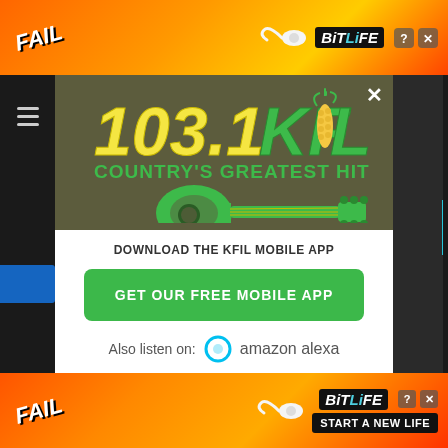[Figure (screenshot): Top banner advertisement for BitLife mobile game with orange/yellow/red background and cartoon characters]
[Figure (logo): 103.1 KFIL Country's Greatest Hits radio station logo with green guitar and yellow/green text on olive/dark background]
DOWNLOAD THE KFIL MOBILE APP
GET OUR FREE MOBILE APP
Also listen on: amazon alexa
[Figure (screenshot): Bottom banner advertisement for BitLife mobile game with orange/red background, FAIL text, cartoon character, and START A NEW LIFE button]